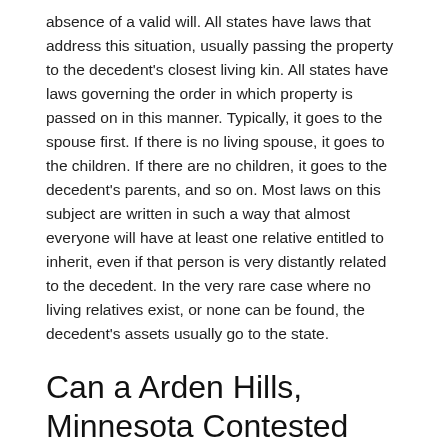absence of a valid will. All states have laws that address this situation, usually passing the property to the decedent's closest living kin. All states have laws governing the order in which property is passed on in this manner. Typically, it goes to the spouse first. If there is no living spouse, it goes to the children. If there are no children, it goes to the decedent's parents, and so on. Most laws on this subject are written in such a way that almost everyone will have at least one relative entitled to inherit, even if that person is very distantly related to the decedent. In the very rare case where no living relatives exist, or none can be found, the decedent's assets usually go to the state.
Can a Arden Hills, Minnesota Contested Will Attorney Help?
Contesting a will can be a difficult, emotional, expensive, and time-consuming process. There is really no way around this. However, a reputable Arden Hills, Minnesota wills and estates attorney can minimize these problems, and make